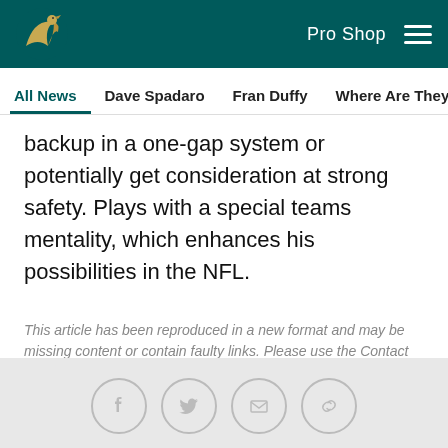Philadelphia Eagles — Pro Shop (navigation header with logo)
All News | Dave Spadaro | Fran Duffy | Where Are They Now? | Pu...
backup in a one-gap system or potentially get consideration at strong safety. Plays with a special teams mentality, which enhances his possibilities in the NFL.
This article has been reproduced in a new format and may be missing content or contain faulty links. Please use the Contact Us link in our site footer to report an issue.
Social share icons: Facebook, Twitter, Email, Link